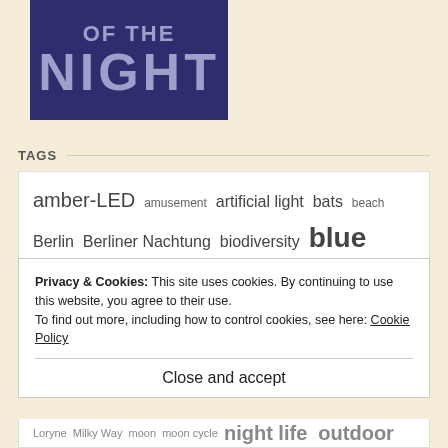[Figure (logo): Dark navy blue rectangle containing 'of the NIGHT' text logo in light purple/lavender color. 'of the' is smaller text, 'NIGHT' is large bold text.]
TAGS
amber-LED amusement artificial light bats beach Berlin Berliner Nachtung biodiversity blue light Christmas lights chronobiology chronotype conservation
Privacy & Cookies: This site uses cookies. By continuing to use this website, you agree to their use.
To find out more, including how to control cookies, see here: Cookie Policy
Close and accept
Loryne Milky Way moon moon cycle night life outdoor